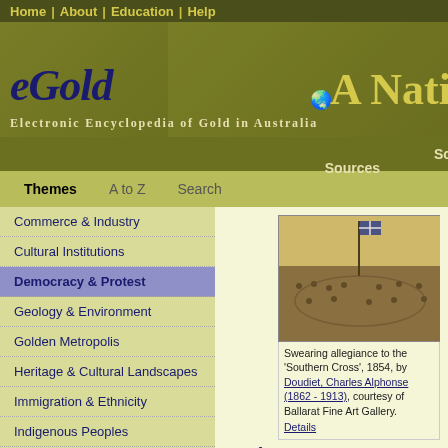Home | About | Education | Help
eGold — Electronic Encyclopedia of Gold in Australia — A Nation
Sources | Entry
Themes | A to Z | Search
Commerce & Industry
Cultural Institutions
Democracy & Protest
Geology & Environment
Golden Metropolis
Heritage & Cultural Landscapes
Immigration & Ethnicity
Indigenous Peoples
Law & Order
Mining Technologies
Eureka Flag
....
[Figure (photo): Historical painting of swearing allegiance to the Southern Cross, 1854]
Swearing allegiance to the 'Southern Cross', 1854, by Doudiet, Charles Alphonse (1862 - 1913), courtesy of Ballarat Fine Art Gallery. Details
The Eureka Flag is an enduring symbol of Australian democracy and social empowerment
[Figure (photo): Image of the Eureka Flag - blue cross with stars on dark background]